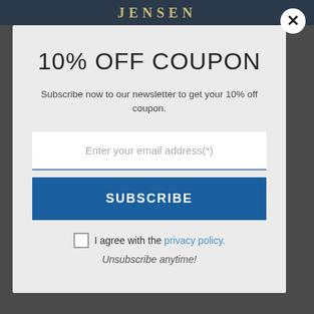[Figure (screenshot): Dark navigation bar with JENSEN logo in gold serif letters]
10% OFF COUPON
Subscribe now to our newsletter to get your 10% off coupon.
Enter your email address(*)
SUBSCRIBE
I agree with the privacy policy.
Unsubscribe anytime!